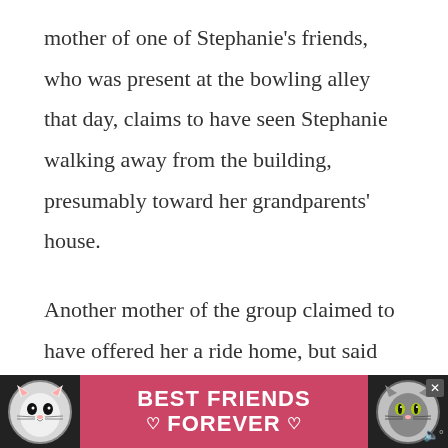mother of one of Stephanie's friends, who was present at the bowling alley that day, claims to have seen Stephanie walking away from the building, presumably toward her grandparents' house.
Another mother of the group claimed to have offered her a ride home, but said Stephanie declined and mentioned forgetting her book bag at the high school soccer field. Stephanie was last seen
[Figure (infographic): Advertisement banner at bottom of page showing two cat illustrations on either side of a pink/red background with bold white text reading 'BEST FRIENDS FOREVER' with heart symbols. Has an X close button in the upper right.]